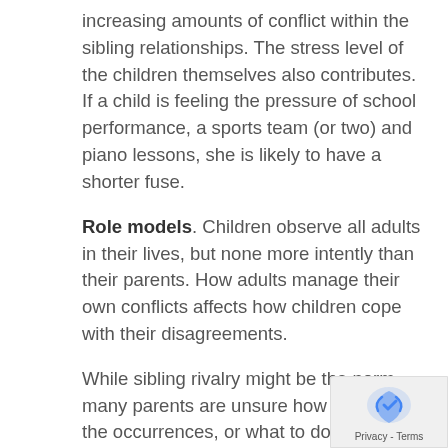increasing amounts of conflict within the sibling relationships. The stress level of the children themselves also contributes. If a child is feeling the pressure of school performance, a sports team (or two) and piano lessons, she is likely to have a shorter fuse.
Role models. Children observe all adults in their lives, but none more intently than their parents. How adults manage their own conflicts affects how children cope with their disagreements.
While sibling rivalry might be the norm, many parents are unsure how to minimize the occurrences, or what to do when they happen. Here are some guidelines to help.
When to get involved. Most sibling disagreements call for a “watch and wait” attitude from parents. Pay attention to the interactions between children.